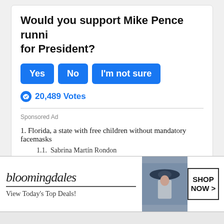Would you support Mike Pence running for President?
[Figure (other): Poll buttons: Yes, No, I'm not sure]
20,489 Votes
Sponsored Ad
1. Florida, a state with free children without mandatory facemasks
1.1. Sabrina Martín Rondon
Available: Español
[Figure (photo): Bloomingdales advertisement banner with woman in wide-brim hat, logo, tagline 'View Today's Top Deals!' and 'SHOP NOW >' button]